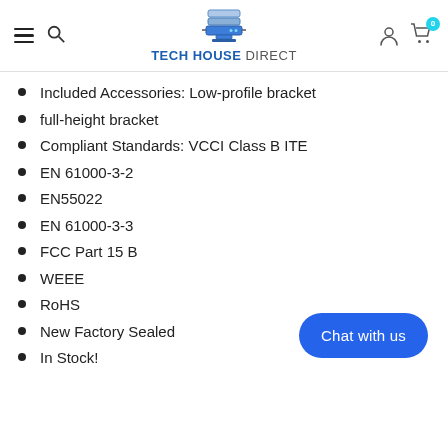TECH HOUSE DIRECT
Included Accessories: Low-profile bracket
full-height bracket
Compliant Standards: VCCI Class B ITE
EN 61000-3-2
EN55022
EN 61000-3-3
FCC Part 15 B
WEEE
RoHS
New Factory Sealed
In Stock!